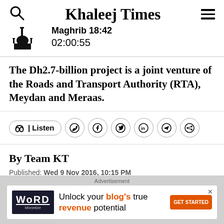Khaleej Times
Maghrib 18:42
02:00:55
The Dh2.7-billion project is a joint venture of the Roads and Transport Authority (RTA), Meydan and Meraas.
Listen (social share icons: WhatsApp, Facebook, Twitter, LinkedIn, Telegram, Share)
By Team KT
Published: Wed 9 Nov 2016, 10:15 PM
[Figure (other): Advertisement banner: Word Monetize — Unlock your blog's true revenue potential. GET STARTED button.]